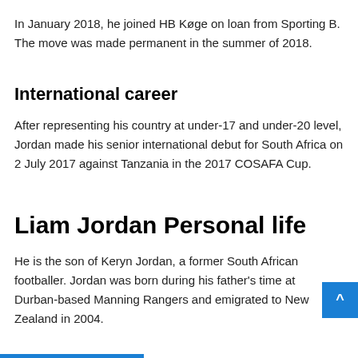In January 2018, he joined HB Køge on loan from Sporting B. The move was made permanent in the summer of 2018.
International career
After representing his country at under-17 and under-20 level, Jordan made his senior international debut for South Africa on 2 July 2017 against Tanzania in the 2017 COSAFA Cup.
Liam Jordan Personal life
He is the son of Keryn Jordan, a former South African footballer. Jordan was born during his father's time at Durban-based Manning Rangers and emigrated to New Zealand in 2004.